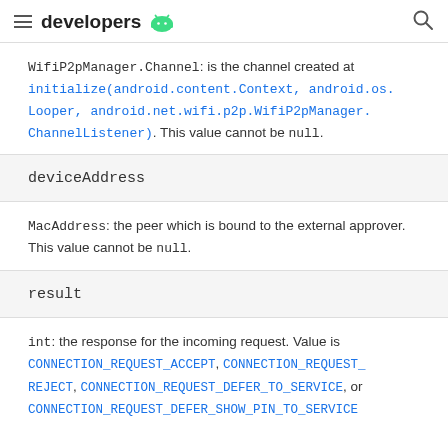developers
WifiP2pManager.Channel: is the channel created at initialize(android.content.Context, android.os.Looper, android.net.wifi.p2p.WifiP2pManager.ChannelListener). This value cannot be null.
deviceAddress
MacAddress: the peer which is bound to the external approver. This value cannot be null.
result
int: the response for the incoming request. Value is CONNECTION_REQUEST_ACCEPT, CONNECTION_REQUEST_REJECT, CONNECTION_REQUEST_DEFER_TO_SERVICE, or CONNECTION_REQUEST_DEFER_SHOW_PIN_TO_SERVICE